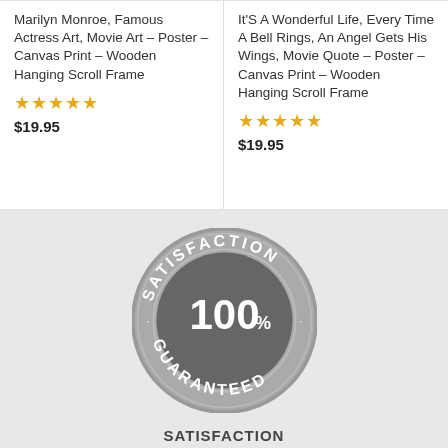Marilyn Monroe, Famous Actress Art, Movie Art – Poster – Canvas Print – Wooden Hanging Scroll Frame
★★★★★ $19.95
It'S A Wonderful Life, Every Time A Bell Rings, An Angel Gets His Wings, Movie Quote – Poster – Canvas Print – Wooden Hanging Scroll Frame
★★★★★ $19.95
[Figure (logo): Satisfaction 100% Guaranteed circular badge/stamp in grey tones with bold white text]
SATISFACTION